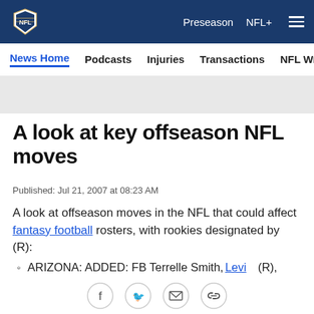NFL — Preseason  NFL+  [menu]
News Home  Podcasts  Injuries  Transactions  NFL Writers  Se
A look at key offseason NFL moves
Published: Jul 21, 2007 at 08:23 AM
A look at offseason moves in the NFL that could affect fantasy football rosters, with rookies designated by (R):
ARIZONA: ADDED: FB Terrelle Smith, OL Mike Gandy, C Al Johnson, OT Levi Brown (R), Hired Former